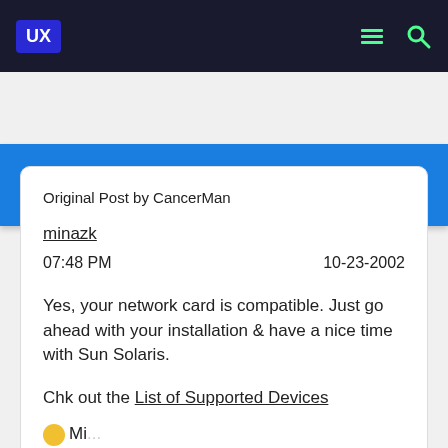UX | The UNIX and Linux Forums
The UNIX and Linux Forums
Original Post by CancerMan
minazk
07:48 PM	10-23-2002
Yes, your network card is compatible. Just go ahead with your installation & have a nice time with Sun Solaris.
Chk out the List of Supported Devices
Mi...